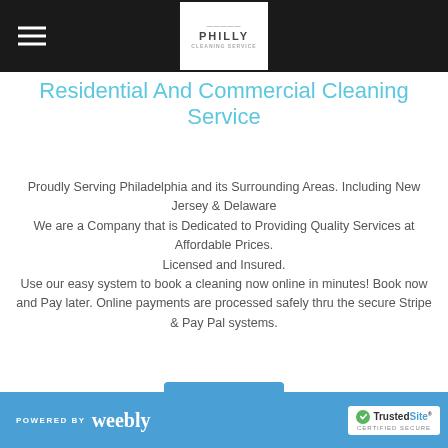[Figure (logo): Navigation bar with hamburger menu icon on left and Philly cleaning service logo (white box with PHILLY text) centered on black background]
Residential And Commercial Cleaning Service
Proudly Serving Philadelphia and its Surrounding Areas. Including New Jersey & Delaware
We are a Company that is Dedicated to Providing Quality Services at Affordable Prices.
Licensed and Insured.
Use our easy system to book a cleaning now online in minutes! Book now and Pay later. Online payments are processed safely thru the secure Stripe & Pay Pal systems.
POWERED BY weebly | TrustedSite CERTIFIED SECURE